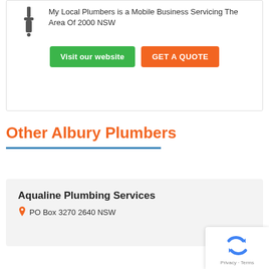[Figure (logo): Plumber wrench/tap icon in dark grey]
My Local Plumbers is a Mobile Business Servicing The Area Of 2000 NSW
Visit our website
GET A QUOTE
Other Albury Plumbers
Aqualine Plumbing Services
PO Box 3270 2640 NSW
[Figure (logo): Google reCAPTCHA badge with spinning arrows logo and Privacy · Terms text]